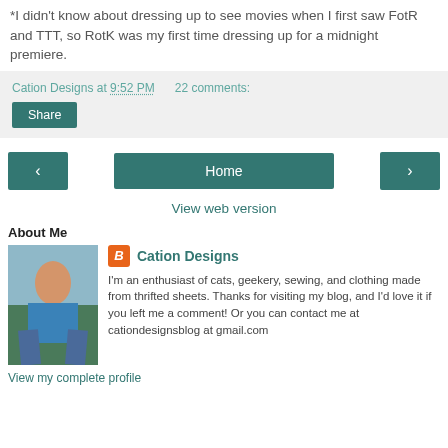*I didn't know about dressing up to see movies when I first saw FotR and TTT, so RotK was my first time dressing up for a midnight premiere.
Cation Designs at 9:52 PM   22 comments:
Share
Home
View web version
About Me
Cation Designs
I'm an enthusiast of cats, geekery, sewing, and clothing made from thrifted sheets. Thanks for visiting my blog, and I'd love it if you left me a comment! Or you can contact me at cationdesignsblog at gmail.com
View my complete profile